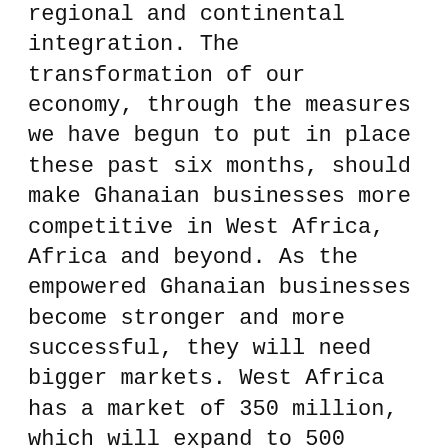regional and continental integration. The transformation of our economy, through the measures we have begun to put in place these past six months, should make Ghanaian businesses more competitive in West Africa, Africa and beyond. As the empowered Ghanaian businesses become stronger and more successful, they will need bigger markets. West Africa has a market of 350 million, which will expand to 500 million people in 20 years. Africa's population will also increase to 2 billion, up from its current 1.2 billion, within the same time frame. This means that establishment of genuine regional and continental markets in West Africa and Africa should be in our economic interest, for these markets will present immense opportunities to bring prosperity to our nation with hard work, creativity and enterprise. The principal reasons for my journeys across West Africa since May, are to renew friendships